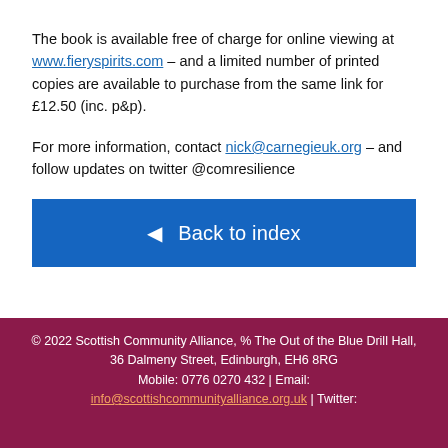The book is available free of charge for online viewing at www.fieryspirits.com – and a limited number of printed copies are available to purchase from the same link for £12.50 (inc. p&p).
For more information, contact nick@carnegieuk.org – and follow updates on twitter @comresilience
◄ Back to index
© 2022 Scottish Community Alliance, % The Out of the Blue Drill Hall, 36 Dalmeny Street, Edinburgh, EH6 8RG Mobile: 0776 0270 432 | Email: info@scottishcommunityalliance.org.uk | Twitter: